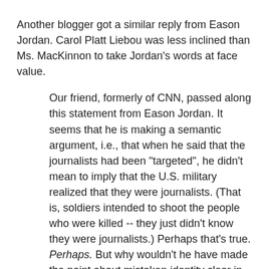Another blogger got a similar reply from Eason Jordan. Carol Platt Liebou was less inclined than Ms. MacKinnon to take Jordan's words at face value.
Our friend, formerly of CNN, passed along this statement from Eason Jordan. It seems that he is making a semantic argument, i.e., that when he said that the journalists had been "targeted", he didn't mean to imply that the U.S. military realized that they were journalists. (That is, soldiers intended to shoot the people who were killed -- they just didn't know they were journalists.) Perhaps that's true. Perhaps. But why wouldn't he have made the point about mistaken identity clear in the original remarks?
Interesting question. I have one for Ms. Liebou: what makes you think that Eason Jordan didn't do that? Or at the very least, didn't try and do that? There is a lot in Ronnie Abovitz original summary to suggest that Jordan did, isn't there? And is it really only a "semantic" difference to insist that the term "collatoral damage" is not an accurate one to describe the